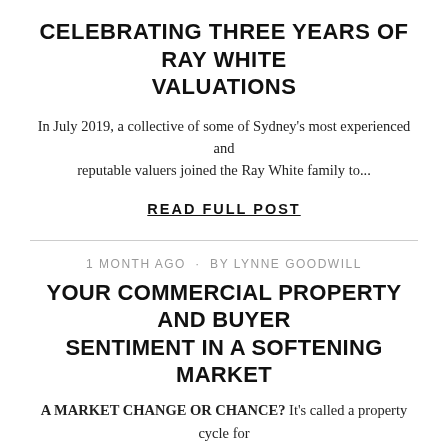CELEBRATING THREE YEARS OF RAY WHITE VALUATIONS
In July 2019, a collective of some of Sydney's most experienced and reputable valuers joined the Ray White family to...
READ FULL POST
1 MONTH AGO · BY LYNNE GOODWILL
YOUR COMMERCIAL PROPERTY AND BUYER SENTIMENT IN A SOFTENING MARKET
A MARKET CHANGE OR CHANCE? It's called a property cycle for a reason, but that doesn't make it any easier to swallow when we realise the closest peak may be in our rear-vision mirror. The first quarter of this year saw further yield compression, adding to six